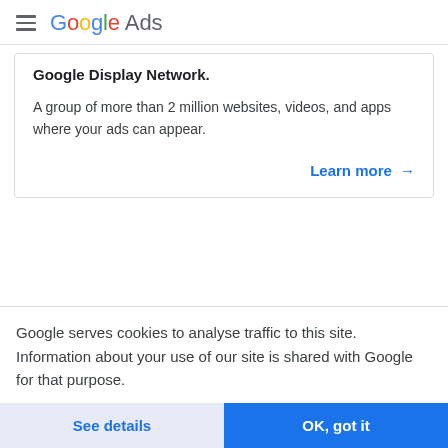Google Ads
Google Display Network.
A group of more than 2 million websites, videos, and apps where your ads can appear.
Learn more →
Google serves cookies to analyse traffic to this site. Information about your use of our site is shared with Google for that purpose.
See details
OK, got it